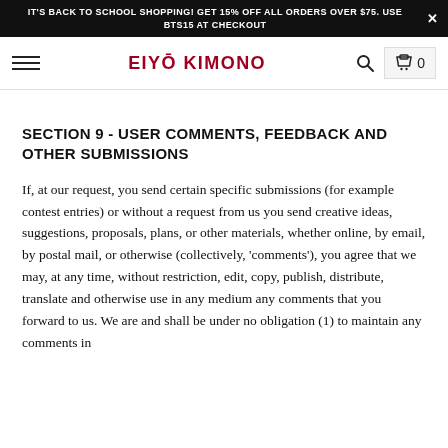IT'S BACK TO SCHOOL SHOPPING! GET 15% OFF ALL ORDERS OVER $75. USE BTS15 AT CHECKOUT
EIYŌ KIMONO
SECTION 9 - USER COMMENTS, FEEDBACK AND OTHER SUBMISSIONS
If, at our request, you send certain specific submissions (for example contest entries) or without a request from us you send creative ideas, suggestions, proposals, plans, or other materials, whether online, by email, by postal mail, or otherwise (collectively, 'comments'), you agree that we may, at any time, without restriction, edit, copy, publish, distribute, translate and otherwise use in any medium any comments that you forward to us. We are and shall be under no obligation (1) to maintain any comments in confidence;